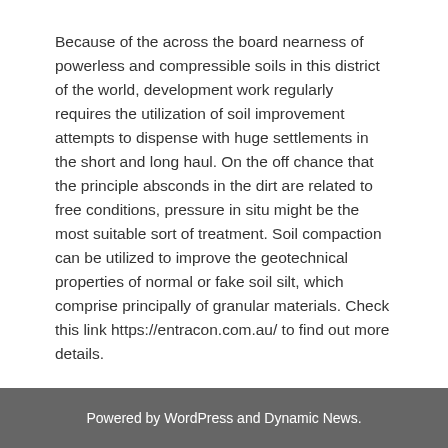Because of the across the board nearness of powerless and compressible soils in this district of the world, development work regularly requires the utilization of soil improvement attempts to dispense with huge settlements in the short and long haul. On the off chance that the principle absconds in the dirt are related to free conditions, pressure in situ might be the most suitable sort of treatment. Soil compaction can be utilized to improve the geotechnical properties of normal or fake soil silt, which comprise principally of granular materials. Check this link https://entracon.com.au/ to find out more details.
Business Services
Powered by WordPress and Dynamic News.